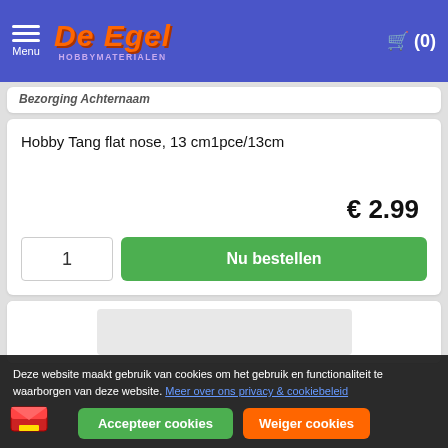De Egel Hobbymaterialen — Menu — Cart (0)
Hobby Tang flat nose, 13 cm1pce/13cm
€ 2.99
1   Nu bestellen
Deze website maakt gebruik van cookies om het gebruik en functionaliteit te waarborgen van deze website. Meer over ons privacy & cookiebeleid
Accepteer cookies   Weiger cookies